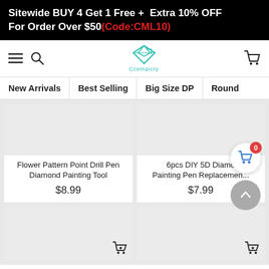Sitewide BUY 4 Get 1 Free + Extra 10% OFF For Order Over $50(Code:CML10)
[Figure (logo): Ccemaicry brand logo with teal diamond/gem icon and brand name]
New Arrivals | Best Selling | Big Size DP | Round
Flower Pattern Point Drill Pen Diamond Painting Tool
$8.99
6pcs DIY 5D Diamond Painting Pen Replacement...
$7.99